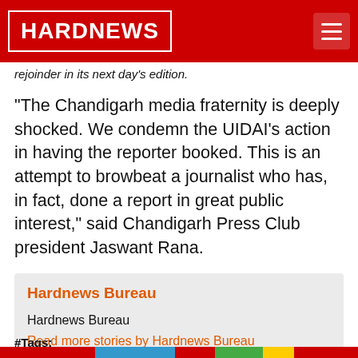HARDNEWS
rejoinder in its next day's edition.
“The Chandigarh media fraternity is deeply shocked. We condemn the UIDAI’s action in having the reporter booked. This is an attempt to browbeat a journalist who has, in fact, done a report in great public interest,” said Chandigarh Press Club president Jaswant Rana.
Hardnews Bureau
Hardnews Bureau
Read more stories by Hardnews Bureau
#Tags:
UIDAI, Aadhaar Card, data breach